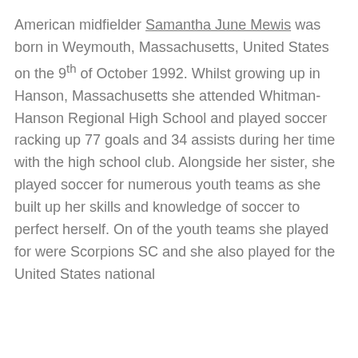American midfielder Samantha June Mewis was born in Weymouth, Massachusetts, United States on the 9th of October 1992. Whilst growing up in Hanson, Massachusetts she attended Whitman-Hanson Regional High School and played soccer racking up 77 goals and 34 assists during her time with the high school club. Alongside her sister, she played soccer for numerous youth teams as she built up her skills and knowledge of soccer to perfect herself. On of the youth teams she played for were Scorpions SC and she also played for the United States national